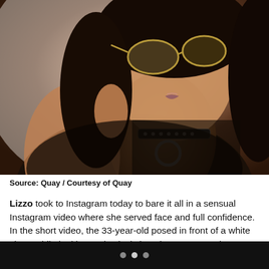[Figure (photo): Close-up photo of Lizzo wearing gold-rimmed aviator sunglasses, a studded choker necklace with a large ring pendant, and a black lace/mesh outfit. She is posing with one hand near her face against a light background.]
Source: Quay / Courtesy of Quay
Lizzo took to Instagram today to bare it all in a sensual Instagram video where she served face and full confidence. In the short video, the 33-year-old posed in front of a white sheet while looking seductively into the camera to the soundtrack of her how self love song. She donned nothing